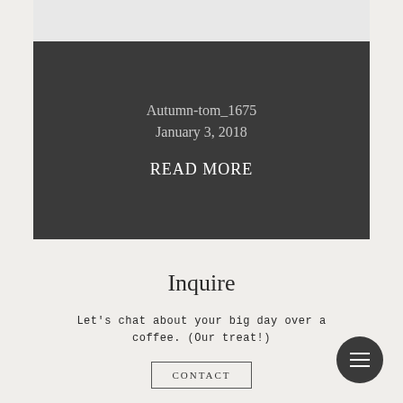[Figure (other): Light gray rectangle at top of card area]
Autumn-tom_1675
January 3, 2018
READ MORE
Inquire
Let's chat about your big day over a coffee. (Our treat!)
CONTACT